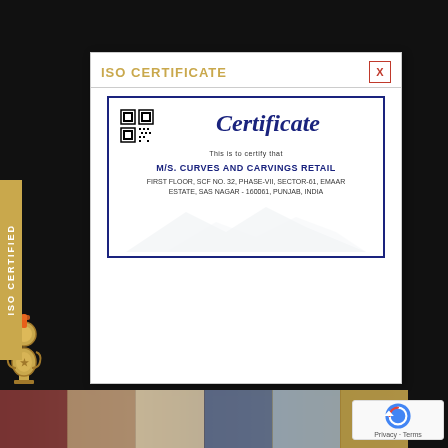ISO CERTIFICATE
[Figure (illustration): Certificate document showing 'Certificate - This is to certify that - M/s. CURVES AND CARVINGS RETAIL - FIRST FLOOR, SCF NO. 32, PHASE-VII, SECTOR-61, EMAAR ESTATE, SAS NAGAR - 160061, PUNJAB, INDIA' with a QR code and blue border, mountain watermark]
ISO CERTIFIED